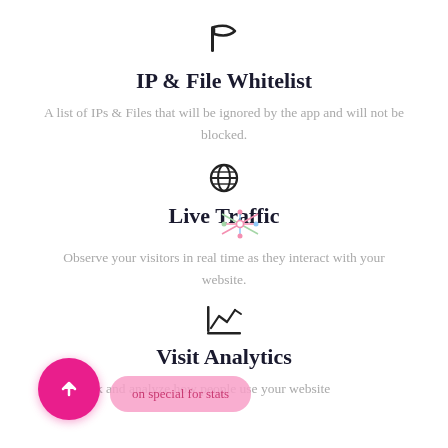[Figure (illustration): Flag icon (outlined flag symbol)]
IP & File Whitelist
A list of IPs & Files that will be ignored by the app and will not be blocked.
[Figure (illustration): Globe/world icon]
Live Traffic
[Figure (illustration): Colorful sparkle/atom decorative icon overlay on Live Traffic title]
Observe your visitors in real time as they interact with your website.
[Figure (illustration): Analytics/chart trend icon]
Visit Analytics
ck and analyze how people use your website
[Figure (illustration): Pink circular FAB button with upward chevron arrow]
on special for stats